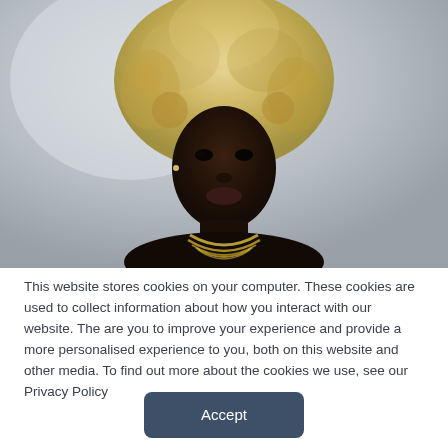[Figure (photo): Portrait photograph of a young dark-skinned person wearing a large, voluminous blonde curly wig and gold beaded necklace, against a light grey background. The subject looks directly at the camera with a serious expression.]
This website stores cookies on your computer. These cookies are used to collect information about how you interact with our website. The are you to improve your experience and provide a more personalised experience to you, both on this website and other media. To find out more about the cookies we use, see our Privacy Policy
Accept